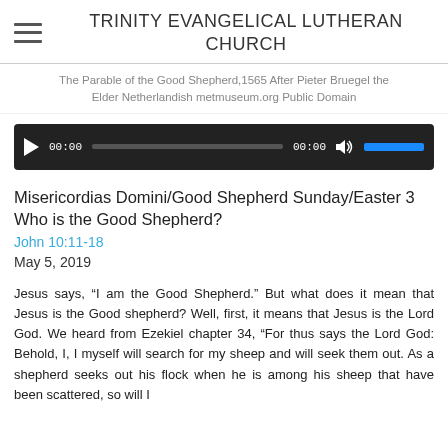TRINITY EVANGELICAL LUTHERAN CHURCH
The Parable of the Good Shepherd,1565 After Pieter Bruegel the Elder Netherlandish metmuseum.org Public Domain
[Figure (other): Audio player widget with play button, time display 00:00, progress bar, duration 00:00, volume icon, and blue volume bar]
Misericordias Domini/Good Shepherd Sunday/Easter 3 Who is the Good Shepherd?
John 10:11-18
May 5, 2019
Jesus says, “I am the Good Shepherd.” But what does it mean that Jesus is the Good shepherd? Well, first, it means that Jesus is the Lord God. We heard from Ezekiel chapter 34, “For thus says the Lord God: Behold, I, I myself will search for my sheep and will seek them out. As a shepherd seeks out his flock when he is among his sheep that have been scattered, so will I